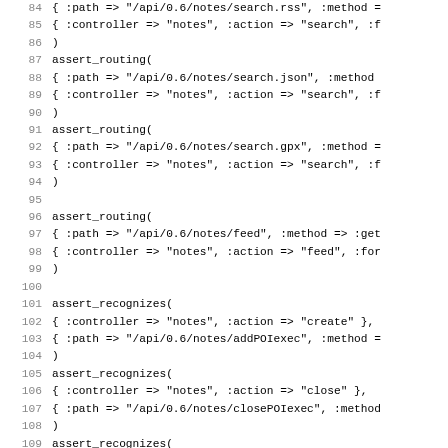Code listing lines 83-115 showing Ruby routing and recognizes assertions for notes API endpoints
[Figure (screenshot): Source code listing showing Ruby on Rails routing test assertions for notes API endpoints including search.rss, search.json, search.gpx, feed, addPOIexec, closePOIexec, editPOIexec, and getGPX routes]